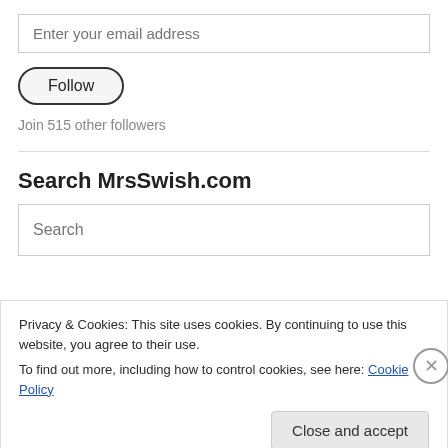Enter your email address
Follow
Join 515 other followers
Search MrsSwish.com
Search
Privacy & Cookies: This site uses cookies. By continuing to use this website, you agree to their use.
To find out more, including how to control cookies, see here: Cookie Policy
Close and accept